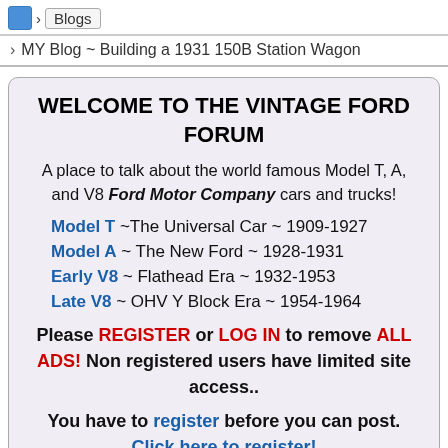› Blogs
› MY Blog ~ Building a 1931 150B Station Wagon
WELCOME TO THE VINTAGE FORD FORUM
A place to talk about the world famous Model T, A, and V8 Ford Motor Company cars and trucks!
Model T ~The Universal Car ~ 1909-1927
Model A ~ The New Ford ~ 1928-1931
Early V8 ~ Flathead Era ~ 1932-1953
Late V8 ~ OHV Y Block Era ~ 1954-1964
Please REGISTER or LOG IN to remove ALL ADS! Non registered users have limited site access..
You have to register before you can post. Click here to register!
Please note that your first few posts will not show up on the boards until they are moderated for spam